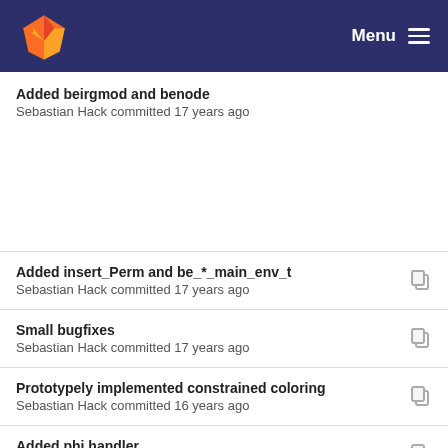GitLab — Menu
Added beirgmod and benode
Sebastian Hack committed 17 years ago
Added insert_Perm and be_*_main_env_t
Sebastian Hack committed 17 years ago
Small bugfixes
Sebastian Hack committed 17 years ago
Prototypely implemented constrained coloring
Sebastian Hack committed 16 years ago
Added phi handler
Sebastian Hack committed 16 years ago
Several bugfixes
Sebastian Hack committed 16 years ago
Imprint